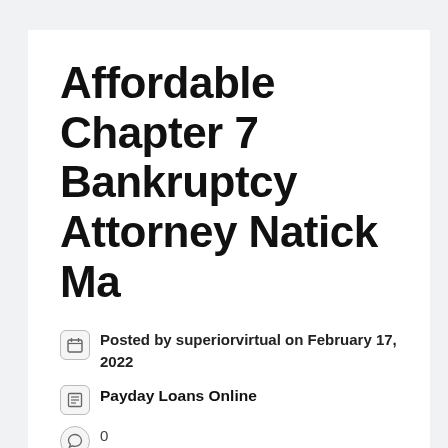Affordable Chapter 7 Bankruptcy Attorney Natick Ma
Posted by superiorvirtual on February 17, 2022
Payday Loans Online
0
Automobile or payday loans Natick in Massachusetts are the most popular loan foreclosure